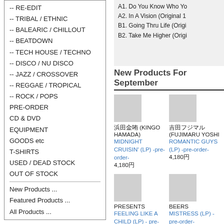-- RE-EDIT
-- TRIBAL / ETHNIC
-- BALEARIC / CHILLOUT
-- BEATDOWN
-- TECH HOUSE / TECHNO
-- DISCO / NU DISCO
-- JAZZ / CROSSOVER
-- REGGAE / TROPICAL
-- ROCK / POPS
PRE-ORDER
CD & DVD
EQUIPMENT
GOODS etc
T-SHIRTS
USED / DEAD STOCK
OUT OF STOCK
New Products ...
Featured Products ...
All Products ...
Artist
Label
A1. Do You Know Who You
A2. In A Vision (Original 1
B1. Going Thru Life (Origi
B2. Take Me Higher (Origi
New Products For September
浜田金吾 (KINGO HAMADA)
MIDNIGHT CRUISIN' (LP) -pre-order-
4,180円
吉田フジマル (FUJIMARU YOSHI
ROMANTIC GUYS (LP) -pre-order-
4,180円
PRESENTS
FEELING LIKE A CHILD (LP) - pre-order-
BEERS
MISTRESS (LP) -pre-order-
4,400円